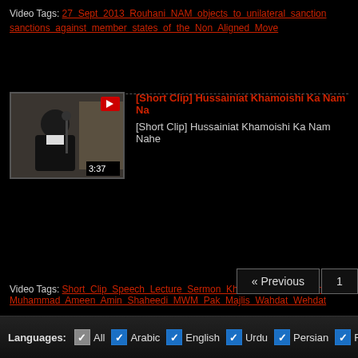Video Tags: 27 Sept 2013 Rouhani NAM objects to unilateral sanctions against member states of the Non Aligned Move
[Figure (screenshot): Video thumbnail showing a cleric at a podium, duration 3:37, with red YouTube-style icon overlay]
[Short Clip] Hussainiat Khamoishi Ka Nam Na
[Short Clip] Hussainiat Khamoishi Ka Nam Nahe
Video Tags: Short Clip Speech Lecture Sermon Khitab Imam Hussain Muhammad Ameen Amin Shaheedi MWM Pak Majlis Wahdat Wehdat
« Previous  1
Languages: All  Arabic  English  Urdu  Persian  French